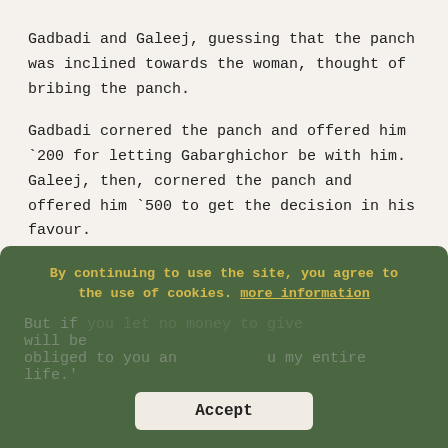Gadbadi and Galeej, guessing that the panch was inclined towards the woman, thought of bribing the panch.
Gadbadi cornered the panch and offered him `200 for letting Gabarghichor be with him. Galeej, then, cornered the panch and offered him `500 to get the decision in his favour.
Noticing that the two men were trying to bribe the panch, the woman came forward to plead, 'Baba! I have no money to give. But if you let me go, I swear I will be obliged to you and serve you my entire life.'
By continuing to use the site, you agree to the use of cookies. more information
Accept